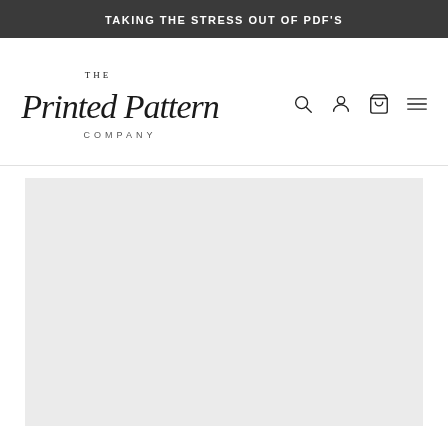TAKING THE STRESS OUT OF PDF'S
[Figure (logo): The Printed Pattern Company logo with script and serif lettering]
[Figure (other): Gray placeholder content area]